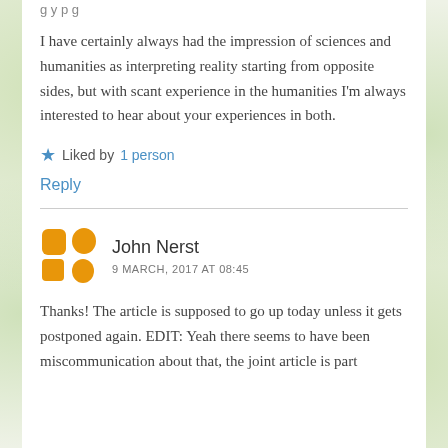I have certainly always had the impression of sciences and humanities as interpreting reality starting from opposite sides, but with scant experience in the humanities I'm always interested to hear about your experiences in both.
Liked by 1 person
Reply
John Nerst
9 MARCH, 2017 AT 08:45
Thanks! The article is supposed to go up today unless it gets postponed again. EDIT: Yeah there seems to have been miscommunication about that, the joint article is part